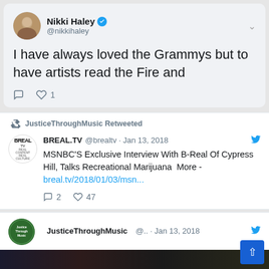[Figure (screenshot): Screenshot of a Twitter/social media feed showing three tweets. First tweet from Nikki Haley (@nikkihaley, verified) saying 'I have always loved the Grammys but to have artists read the Fire and' with 1 like. Second is a retweet by JusticeThroughMusic of BREAL.TV (@brealtv) from Jan 13, 2018 about 'MSNBC'S Exclusive Interview With B-Real Of Cypress Hill, Talks Recreational Marijuana More - breal.tv/2018/01/03/msn...' with 2 comments and 47 likes. Third tweet from JusticeThroughMusic (@..) on Jan 13, 2018 with a scroll-to-top button.]